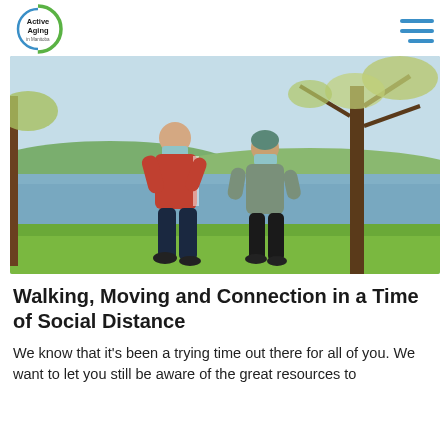Active Aging in Manitoba
[Figure (photo): Two older adults jogging outdoors by a river wearing protective face masks, surrounded by trees and grass on a sunny day.]
Walking, Moving and Connection in a Time of Social Distance
We know that it’s been a trying time out there for all of you. We want to let you still be aware of the great resources to